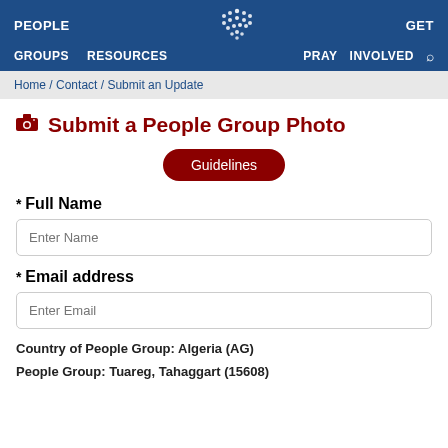PEOPLE  GROUPS  RESOURCES  GET  PRAY  INVOLVED
Home / Contact / Submit an Update
Submit a People Group Photo
Guidelines
* Full Name
Enter Name
* Email address
Enter Email
Country of People Group:  Algeria (AG)
People Group:  Tuareg, Tahaggart (15608)